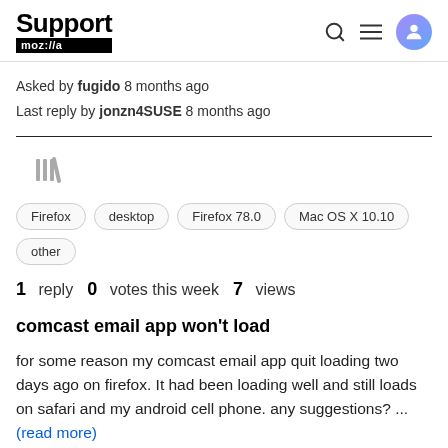Support moz://a
Asked by fugido 8 months ago
Last reply by jonzn4SUSE 8 months ago
[Figure (illustration): Archive/library icon with vertical bars]
Firefox
desktop
Firefox 78.0
Mac OS X 10.10
other
1 reply  0 votes this week  7 views
comcast email app won't load
for some reason my comcast email app quit loading two days ago on firefox. It had been loading well and still loads on safari and my android cell phone. any suggestions? ... (read more)